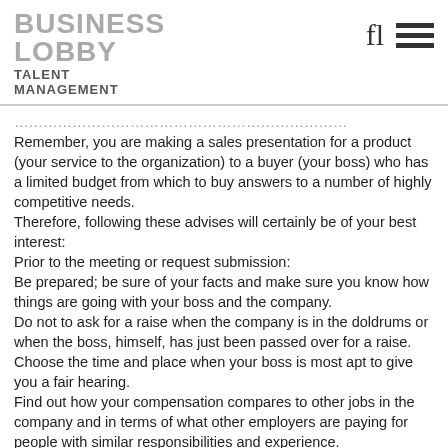BUSINESS LOBBY TALENT MANAGEMENT
Remember, you are making a sales presentation for a product (your service to the organization) to a buyer (your boss) who has a limited budget from which to buy answers to a number of highly competitive needs.
Therefore, following these advises will certainly be of your best interest:
Prior to the meeting or request submission:
Be prepared; be sure of your facts and make sure you know how things are going with your boss and the company.
Do not to ask for a raise when the company is in the doldrums or when the boss, himself, has just been passed over for a raise.
Choose the time and place when your boss is most apt to give you a fair hearing.
Find out how your compensation compares to other jobs in the company and in terms of what other employers are paying for people with similar responsibilities and experience.
Know what the fair market value is for your talents.
Get a reading on how your fellow employees and your boss rate